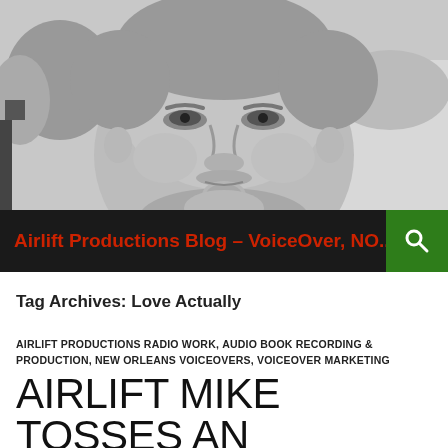[Figure (photo): Black and white close-up portrait photo of a middle-aged man with short gray hair and a goatee, outdoors with blurred background of trees and water.]
Airlift Productions Blog – VoiceOver, NO...
Tag Archives: Love Actually
AIRLIFT PRODUCTIONS RADIO WORK, AUDIO BOOK RECORDING & PRODUCTION, NEW ORLEANS VOICEOVERS, VOICEOVER MARKETING
AIRLIFT MIKE TOSSES AN AUDIO POTPOURRI!